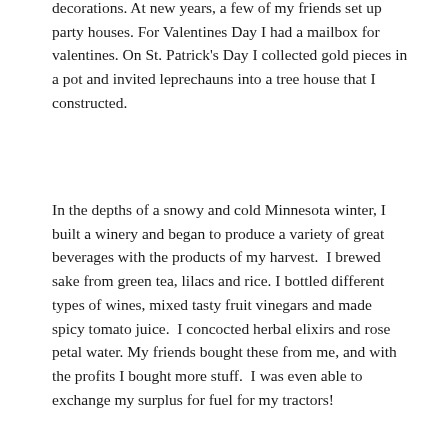decorations. At new years, a few of my friends set up party houses. For Valentines Day I had a mailbox for valentines. On St. Patrick's Day I collected gold pieces in a pot and invited leprechauns into a tree house that I constructed.
In the depths of a snowy and cold Minnesota winter, I built a winery and began to produce a variety of great beverages with the products of my harvest.  I brewed sake from green tea, lilacs and rice. I bottled different types of wines, mixed tasty fruit vinegars and made spicy tomato juice.  I concocted herbal elixirs and rose petal water. My friends bought these from me, and with the profits I bought more stuff.  I was even able to exchange my surplus for fuel for my tractors!
Meanwhile, to support my lavish farming lifestyle I dutifully continued planting and harvesting. As the months passed I became increasingly experienced and was recognized as a master grower of over 20 different kinds of fruits, vegetables and trees. Those were heady